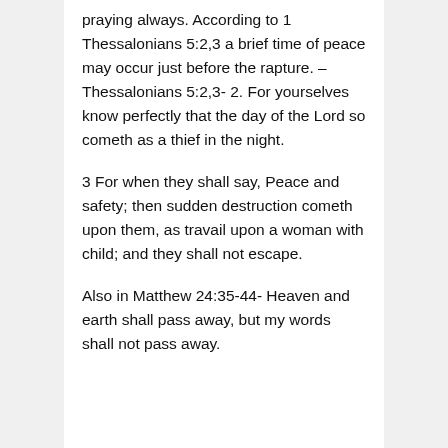praying always. According to 1 Thessalonians 5:2,3 a brief time of peace may occur just before the rapture. – Thessalonians 5:2,3- 2. For yourselves know perfectly that the day of the Lord so cometh as a thief in the night.
3 For when they shall say, Peace and safety; then sudden destruction cometh upon them, as travail upon a woman with child; and they shall not escape.
Also in Matthew 24:35-44- Heaven and earth shall pass away, but my words shall not pass away.